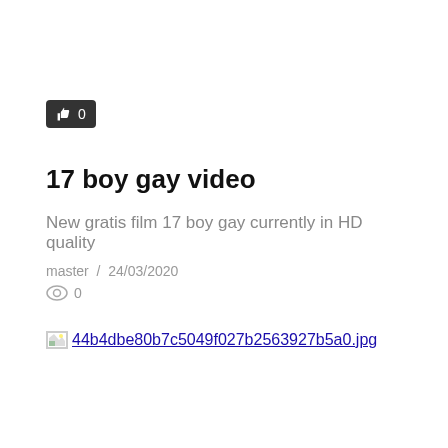[Figure (other): Like/thumbs-up button with count 0 on dark background]
17 boy gay video
New gratis film 17 boy gay currently in HD quality
master  /  24/03/2020
0
44b4dbe80b7c5049f027b2563927b5a0.jpg